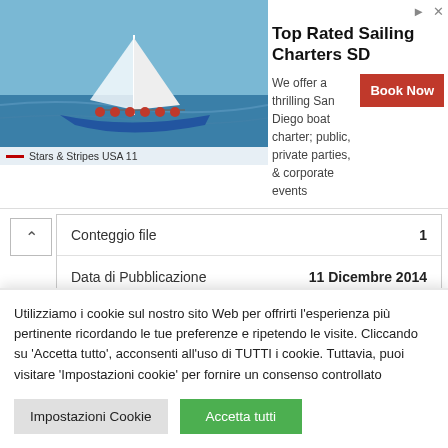[Figure (screenshot): Advertisement banner for Top Rated Sailing Charters SD with a sailing boat photo, description text, and Book Now button]
| Conteggio file | 1 |
| Data di Pubblicazione | 11 Dicembre 2014 |
| Ultimo aggiornamento | 11 Dicembre 2014 |
Utilizziamo i cookie sul nostro sito Web per offrirti l'esperienza più pertinente ricordando le tue preferenze e ripetendo le visite. Cliccando su 'Accetta tutto', acconsenti all'uso di TUTTI i cookie. Tuttavia, puoi visitare 'Impostazioni cookie' per fornire un consenso controllato